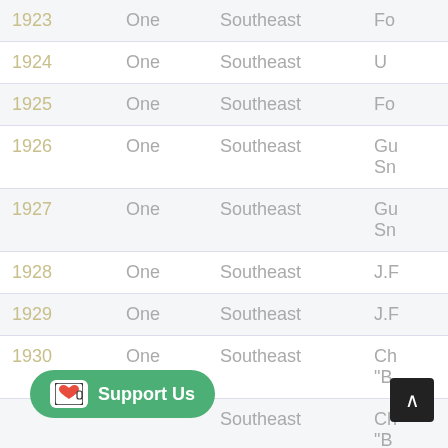| Year | Count | Region | Name (truncated) |
| --- | --- | --- | --- |
| 1923 | One | Southeast | Fo… |
| 1924 | One | Southeast | U… |
| 1925 | One | Southeast | Fo… |
| 1926 | One | Southeast | G… / Sn… |
| 1927 | One | Southeast | G… / Sn… |
| 1928 | One | Southeast | J.F… |
| 1929 | One | Southeast | J.F… |
| 1930 | One | Southeast | Ch… / "B… |
|  |  | Southeast | Ch… / "B… |